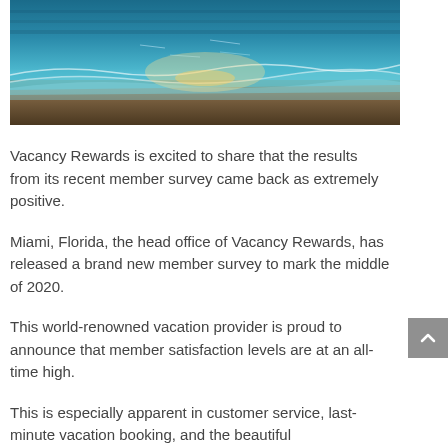[Figure (photo): Beach scene with ocean waves and sandy shore, sunlight reflecting on water]
Vacancy Rewards is excited to share that the results from its recent member survey came back as extremely positive.
Miami, Florida, the head office of Vacancy Rewards, has released a brand new member survey to mark the middle of 2020.
This world-renowned vacation provider is proud to announce that member satisfaction levels are at an all-time high.
This is especially apparent in customer service, last-minute vacation booking, and the beautiful accommodations offered to members.